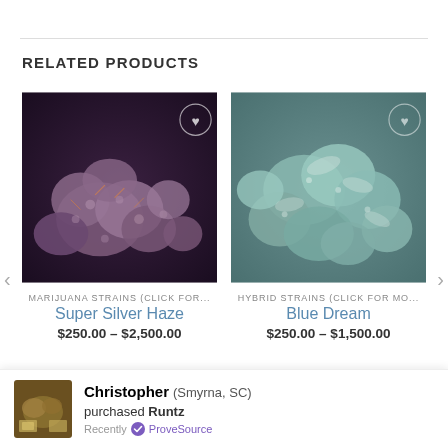RELATED PRODUCTS
[Figure (photo): Close-up photo of marijuana cannabis buds with purple and green coloring on dark background, with heart/wishlist button overlay]
MARIJUANA STRAINS (CLICK FOR...
Super Silver Haze
$250.00 – $2,500.00
[Figure (photo): Close-up photo of hybrid cannabis buds with teal/green-grey coloring, with heart/wishlist button overlay]
HYBRID STRAINS (CLICK FOR MO...
Blue Dream
$250.00 – $1,500.00
Christopher (Smyrna, SC) purchased Runtz Recently ✓ ProveSource